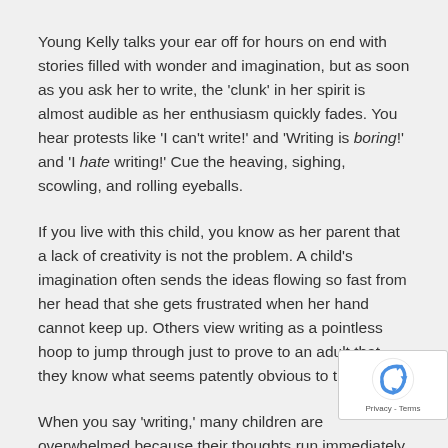Young Kelly talks your ear off for hours on end with stories filled with wonder and imagination, but as soon as you ask her to write, the 'clunk' in her spirit is almost audible as her enthusiasm quickly fades. You hear protests like 'I can't write!' and 'Writing is boring!' and 'I hate writing!' Cue the heaving, sighing, scowling, and rolling eyeballs.
If you live with this child, you know as her parent that a lack of creativity is not the problem. A child's imagination often sends the ideas flowing so fast from her head that she gets frustrated when her hand cannot keep up. Others view writing as a pointless hoop to jump through just to prove to an adult that they know what seems patently obvious to them.
When you say 'writing,' many children are overwhelmed because their thoughts run immediately to large chunks of text, complex plots, spelling, and punctuation. Keep in m...